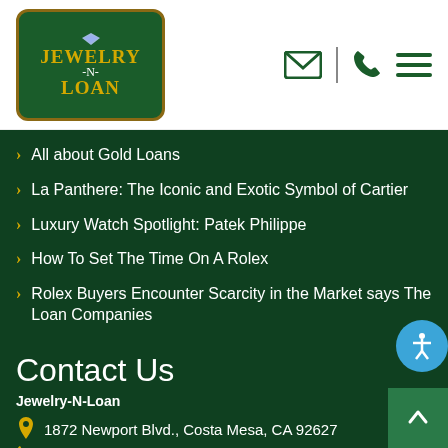[Figure (logo): Jewelry-N-Loan logo: dark green shield/badge shape with gold border, diamond icon at top, JEWELRY in gold text, -N- in white, LOAN in gold text]
All about Gold Loans
La Panthere: The Iconic and Exotic Symbol of Cartier
Luxury Watch Spotlight: Patek Philippe
How To Set The Time On A Rolex
Rolex Buyers Encounter Scarcity in the Market says The Loan Companies
Contact Us
Jewelry-N-Loan
1872 Newport Blvd., Costa Mesa, CA 92627
(949) 396-0898